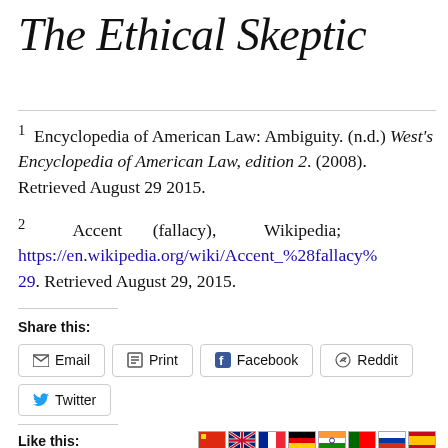The Ethical Skeptic
1  Encyclopedia of American Law: Ambiguity. (n.d.) West's Encyclopedia of American Law, edition 2. (2008). Retrieved August 29 2015.
2  Accent (fallacy), Wikipedia; https://en.wikipedia.org/wiki/Accent_%28fallacy%29. Retrieved August 29, 2015.
Share this:
Email  Print  Facebook  Reddit  Twitter
Like this: